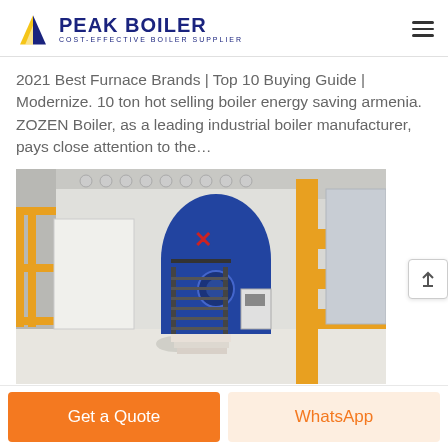PEAK BOILER COST-EFFECTIVE BOILER SUPPLIER
2021 Best Furnace Brands | Top 10 Buying Guide | Modernize. 10 ton hot selling boiler energy saving armenia. ZOZEN Boiler, as a leading industrial boiler manufacturer, pays close attention to the…
[Figure (photo): Industrial boiler facility interior showing large blue boiler units with yellow pipework, metal staircases, and industrial equipment in a warehouse setting.]
Get a Quote | WhatsApp